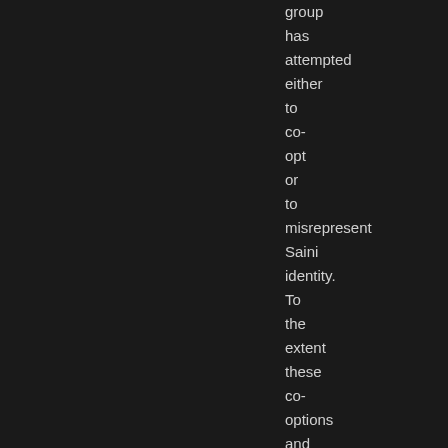group has attempted either to co-opt or to misrepresent Saini identity. To the extent these co-options and misrepresentations have been the result of popular ignorance